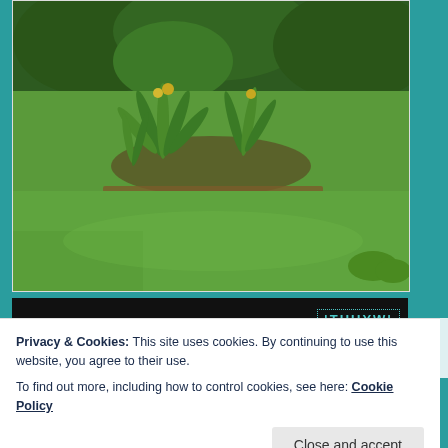[Figure (photo): Outdoor garden photo showing a lush green lawn with a garden bed containing tropical plants with long green leaves and yellow flowers in the center, trees and shrubs in the background, taken on an overcast day.]
[Figure (screenshot): Dark/black strip showing a partial website element with a teal/cyan colored logo text reading 'THUYW' with dotted border on dark background.]
Privacy & Cookies: This site uses cookies. By continuing to use this website, you agree to their use.
To find out more, including how to control cookies, see here: Cookie Policy
Close and accept